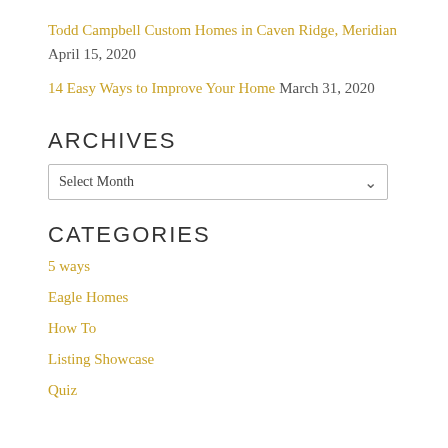Todd Campbell Custom Homes in Caven Ridge, Meridian April 15, 2020
14 Easy Ways to Improve Your Home March 31, 2020
ARCHIVES
Select Month
CATEGORIES
5 ways
Eagle Homes
How To
Listing Showcase
Quiz